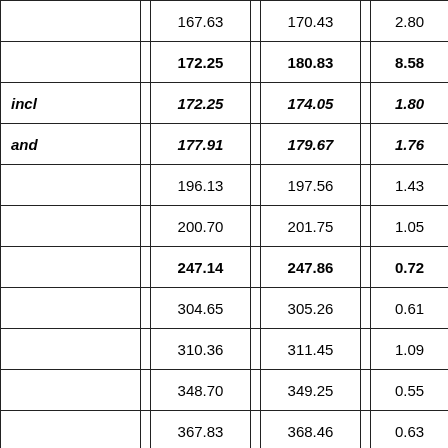|  | 167.63 | 170.43 | 2.80 |
|  | 172.25 | 180.83 | 8.58 |
| incl | 172.25 | 174.05 | 1.80 |
| and | 177.91 | 179.67 | 1.76 |
|  | 196.13 | 197.56 | 1.43 |
|  | 200.70 | 201.75 | 1.05 |
|  | 247.14 | 247.86 | 0.72 |
|  | 304.65 | 305.26 | 0.61 |
|  | 310.36 | 311.45 | 1.09 |
|  | 348.70 | 349.25 | 0.55 |
|  | 367.83 | 368.46 | 0.63 |